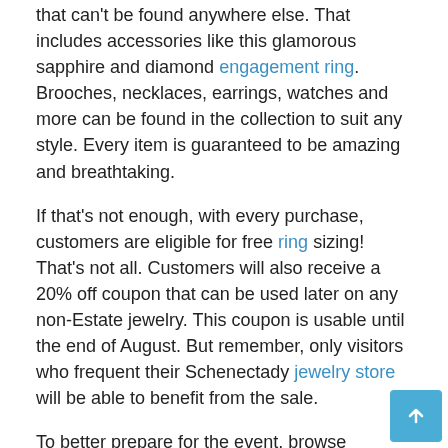that can't be found anywhere else. That includes accessories like this glamorous sapphire and diamond engagement ring. Brooches, necklaces, earrings, watches and more can be found in the collection to suit any style. Every item is guaranteed to be amazing and breathtaking.
If that's not enough, with every purchase, customers are eligible for free ring sizing! That's not all. Customers will also receive a 20% off coupon that can be used later on any non-Estate jewelry. This coupon is usable until the end of August. But remember, only visitors who frequent their Schenectady jewelry store will be able to benefit from the sale.
To better prepare for the event, browse Northeastern Fine Jewelry's online inventory today, or visit them in person! Call their Schenectady jewelry store at (518) 372-3604 to find out more about their sale, hours and selection.
About Northeast Fine Jewelry